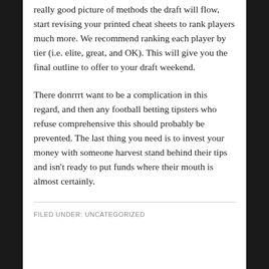really good picture of methods the draft will flow, start revising your printed cheat sheets to rank players much more. We recommend ranking each player by tier (i.e. elite, great, and OK). This will give you the final outline to offer to your draft weekend.
There donrrrt want to be a complication in this regard, and then any football betting tipsters who refuse comprehensive this should probably be prevented. The last thing you need is to invest your money with someone harvest stand behind their tips and isn't ready to put funds where their mouth is almost certainly.
FILED UNDER: UNCATEGORIZED